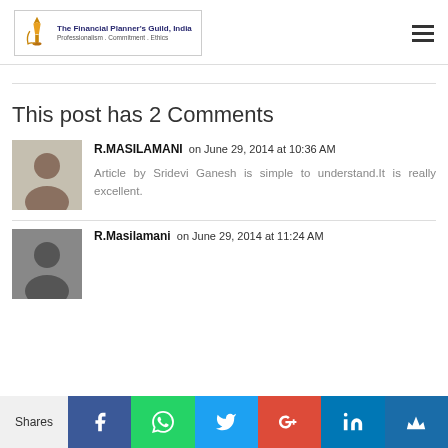The Financial Planner's Guild, India — Professionalism . Commitment . Ethics
This post has 2 Comments
R.MASILAMANI  on June 29, 2014 at 10:36 AM
Article by Sridevi Ganesh is simple to understand.It is really excellent.
R.Masilamani  on June 29, 2014 at 11:24 AM
Shares | Facebook | WhatsApp | Twitter | Google+ | LinkedIn | Crown